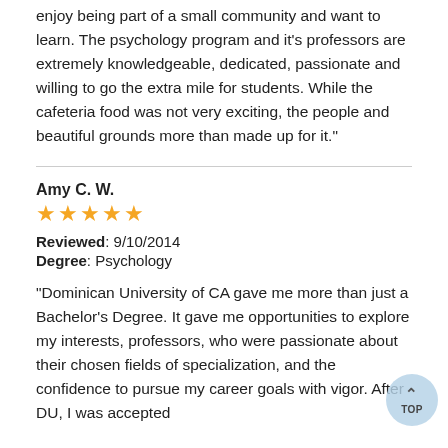enjoy being part of a small community and want to learn. The psychology program and it's professors are extremely knowledgeable, dedicated, passionate and willing to go the extra mile for students. While the cafeteria food was not very exciting, the people and beautiful grounds more than made up for it."
Amy C. W.
[Figure (other): Five gold star rating icons]
Reviewed: 9/10/2014
Degree: Psychology
"Dominican University of CA gave me more than just a Bachelor's Degree. It gave me opportunities to explore my interests, professors, who were passionate about their chosen fields of specialization, and the confidence to pursue my career goals with vigor. After DU, I was accepted